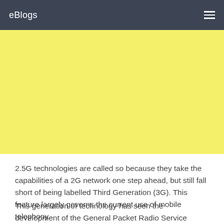eBlogs
[Figure (other): Yellow banner/advertisement placeholder block]
2.5G technologies are called so because they take the capabilities of a 2G network one step ahead, but still fall short of being labelled Third Generation (3G). This feature largely governs the current use of mobile telephony.
This generation of technology has seen the development of the General Packet Radio Service (GPRS) and its integration into the